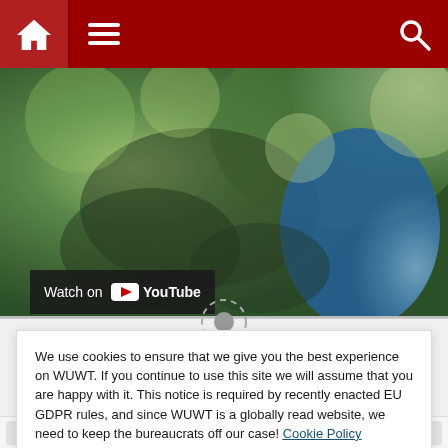WUWT navigation bar with home, menu, and search icons
[Figure (screenshot): Blurred outdoor photo used as YouTube video thumbnail, showing green foliage and a blue-shirted figure]
Watch on YouTube
We use cookies to ensure that we give you the best experience on WUWT. If you continue to use this site we will assume that you are happy with it. This notice is required by recently enacted EU GDPR rules, and since WUWT is a globally read website, we need to keep the bureaucrats off our case! Cookie Policy
Close and accept